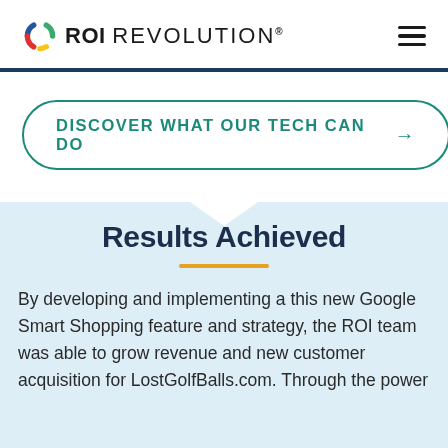ROI REVOLUTION
[Figure (logo): ROI Revolution logo with colorful spiral icon and bold ROI text followed by REVOLUTION]
DISCOVER WHAT OUR TECH CAN DO →
Results Achieved
By developing and implementing a this new Google Smart Shopping feature and strategy, the ROI team was able to grow revenue and new customer acquisition for LostGolfBalls.com. Through the power